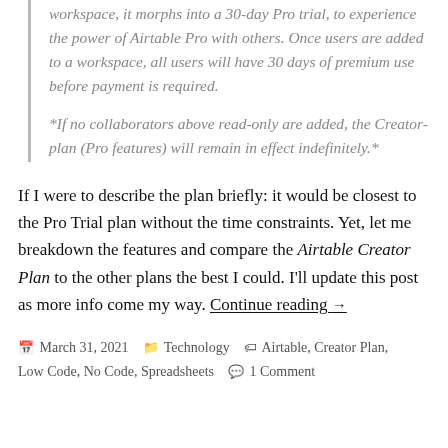workspace, it morphs into a 30-day Pro trial, to experience the power of Airtable Pro with others. Once users are added to a workspace, all users will have 30 days of premium use before payment is required.
*If no collaborators above read-only are added, the Creator-plan (Pro features) will remain in effect indefinitely.*
If I were to describe the plan briefly: it would be closest to the Pro Trial plan without the time constraints. Yet, let me breakdown the features and compare the Airtable Creator Plan to the other plans the best I could. I'll update this post as more info come my way. Continue reading →
March 31, 2021   Technology   Airtable, Creator Plan, Low Code, No Code, Spreadsheets   1 Comment